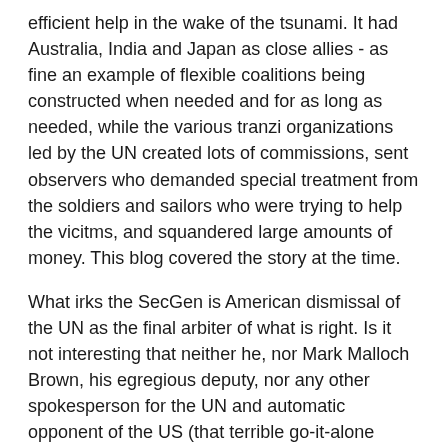efficient help in the wake of the tsunami. It had Australia, India and Japan as close allies - as fine an example of flexible coalitions being constructed when needed and for as long as needed, while the various tranzi organizations led by the UN created lots of commissions, sent observers who demanded special treatment from the soldiers and sailors who were trying to help the vicitms, and squandered large amounts of money. This blog covered the story at the time.
What irks the SecGen is American dismissal of the UN as the final arbiter of what is right. Is it not interesting that neither he, nor Mark Malloch Brown, his egregious deputy, nor any other spokesperson for the UN and automatic opponent of the US (that terrible go-it-alone bully) ever produces any definite examples of a "functioning global system". Darfur? Srebrenice? The Balkans in general? Iraq? Iran? DR Congo and other African countries infested with "peacekeepers"? Rwanda? Take your pick, Kofi.
COMMENT THREAD